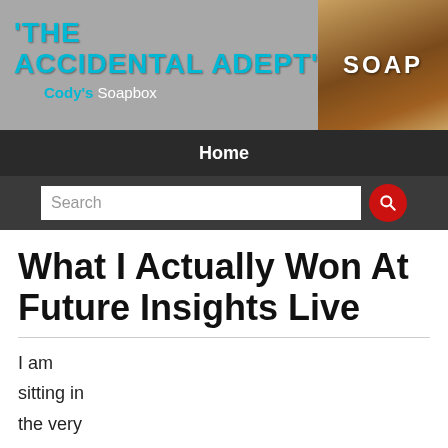THE ACCIDENTAL ADEPT — Cody's Soapbox
[Figure (illustration): Wooden soap box with SOAP written on it in white letters]
Home
Search
What I Actually Won At Future Insights Live
I am sitting in the very last session of this year's Future